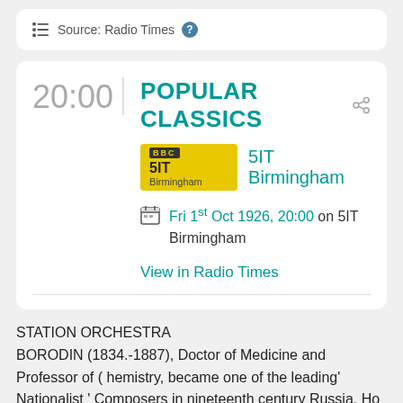Source: Radio Times
POPULAR CLASSICS
5IT Birmingham
Fri 1st Oct 1926, 20:00 on 5IT Birmingham
View in Radio Times
STATION ORCHESTRA
BORODIN (1834.-1887), Doctor of Medicine and Professor of ( hemistry, became one of the leading' Nationalist ' Composers in nineteenth century Russia. Ho wrote this ' Sketch ' in 1880. A ' programme ' is printed on the title-page of